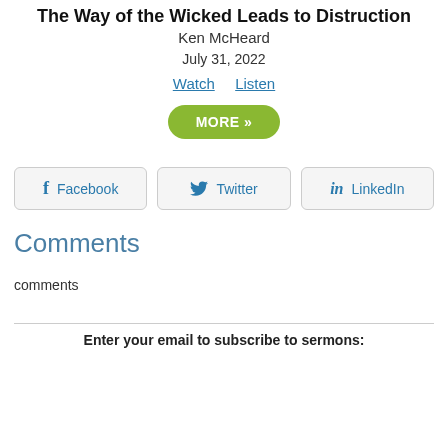The Way of the Wicked Leads to Distruction
Ken McHeard
July 31, 2022
Watch   Listen
MORE »
Facebook   Twitter   LinkedIn
Comments
comments
Enter your email to subscribe to sermons: